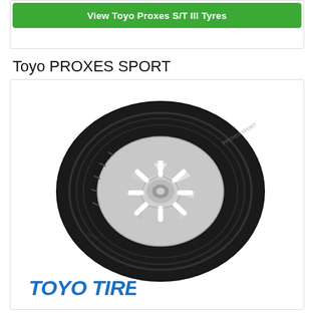View Toyo Proxes S/T III Tyres
Toyo PROXES SPORT
[Figure (photo): Toyo PROXES SPORT tyre on a white alloy wheel, shown at an angle on a white background]
[Figure (logo): TOYO TIRES logo in blue italic bold text]